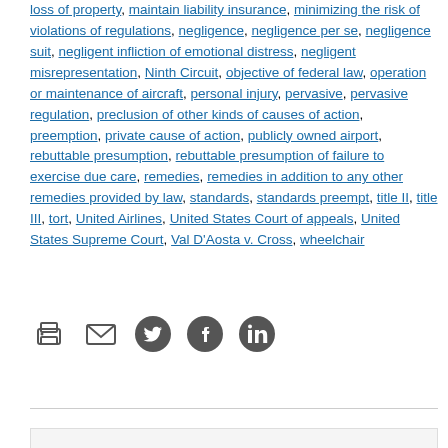loss of property, maintain liability insurance, minimizing the risk of violations of regulations, negligence, negligence per se, negligence suit, negligent infliction of emotional distress, negligent misrepresentation, Ninth Circuit, objective of federal law, operation or maintenance of aircraft, personal injury, pervasive, pervasive regulation, preclusion of other kinds of causes of action, preemption, private cause of action, publicly owned airport, rebuttable presumption, rebuttable presumption of failure to exercise due care, remedies, remedies in addition to any other remedies provided by law, standards, standards preempt, title II, title III, tort, United Airlines, United States Court of appeals, United States Supreme Court, Val D'Aosta v. Cross, wheelchair
[Figure (other): Social sharing icons: print, email, Twitter, Facebook, LinkedIn]